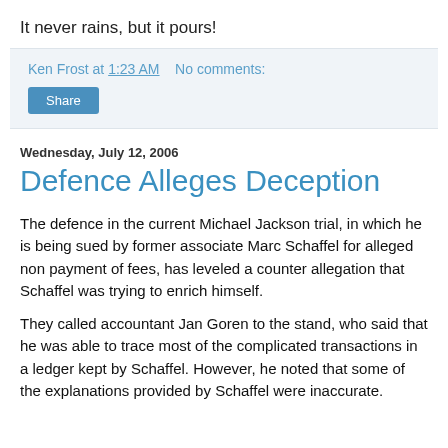It never rains, but it pours!
Ken Frost at 1:23 AM   No comments:
Share
Wednesday, July 12, 2006
Defence Alleges Deception
The defence in the current Michael Jackson trial, in which he is being sued by former associate Marc Schaffel for alleged non payment of fees, has leveled a counter allegation that Schaffel was trying to enrich himself.
They called accountant Jan Goren to the stand, who said that he was able to trace most of the complicated transactions in a ledger kept by Schaffel. However, he noted that some of the explanations provided by Schaffel were inaccurate.